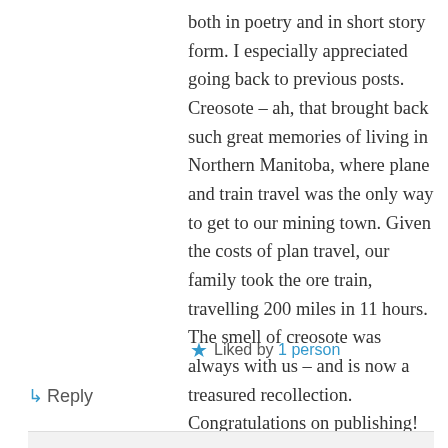both in poetry and in short story form. I especially appreciated going back to previous posts. Creosote – ah, that brought back such great memories of living in Northern Manitoba, where plane and train travel was the only way to get to our mining town. Given the costs of plan travel, our family took the ore train, travelling 200 miles in 11 hours. The smell of creosote was always with us – and is now a treasured recollection. Congratulations on publishing! You shed light in dark places.
★ Liked by 1 person
↳ Reply